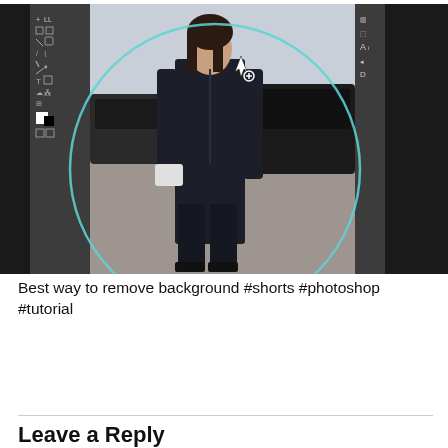[Figure (screenshot): Screenshot of Adobe Photoshop with a woman in a dark suit standing on a street, with a circular selection tool active around her figure. The Photoshop toolbars are visible on the left and right sides against black panels.]
Best way to remove background #shorts #photoshop #tutorial
Leave a Reply